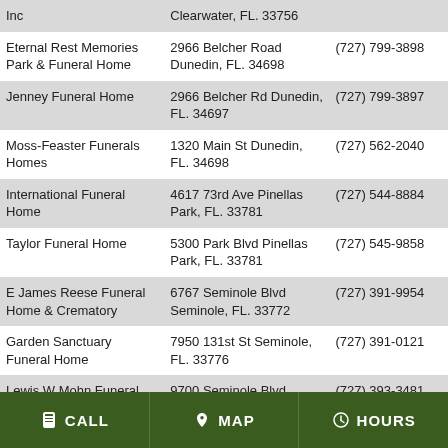| Name | Address | Phone |
| --- | --- | --- |
| Inc | Clearwater, FL. 33756 |  |
| Eternal Rest Memories Park & Funeral Home | 2966 Belcher Road Dunedin, FL. 34698 | (727) 799-3898 |
| Jenney Funeral Home | 2966 Belcher Rd Dunedin, FL. 34697 | (727) 799-3897 |
| Moss-Feaster Funerals Homes | 1320 Main St Dunedin, FL. 34698 | (727) 562-2040 |
| International Funeral Home | 4617 73rd Ave Pinellas Park, FL. 33781 | (727) 544-8884 |
| Taylor Funeral Home | 5300 Park Blvd Pinellas Park, FL. 33781 | (727) 545-9858 |
| E James Reese Funeral Home & Crematory | 6767 Seminole Blvd Seminole, FL. 33772 | (727) 391-9954 |
| Garden Sanctuary Funeral Home | 7950 131st St Seminole, FL. 33776 | (727) 391-0121 |
| Lewis W Mohn Funeral Home | 9700 Seminole Blvd Seminole, FL. 33772 | (727) 393-3481 |
CALL   MAP   HOURS